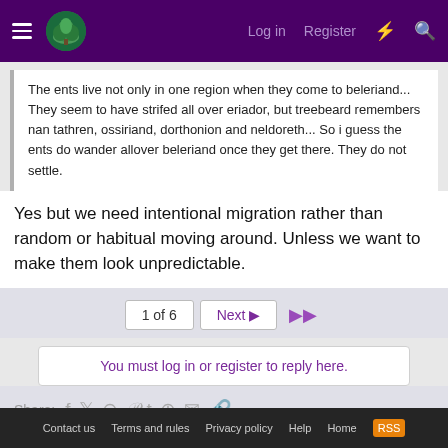Log in  Register
The ents live not only in one region when they come to beleriand... They seem to have strifed all over eriador, but treebeard remembers nan tathren, ossiriand, dorthonion and neldoreth... So i guess the ents do wander allover beleriand once they get there. They do not settle.
Yes but we need intentional migration rather than random or habitual moving around. Unless we want to make them look unpredictable.
1 of 6  Next  ▶▶
You must log in or register to reply here.
Share:
< Episode Questions
Contact us  Terms and rules  Privacy policy  Help  Home